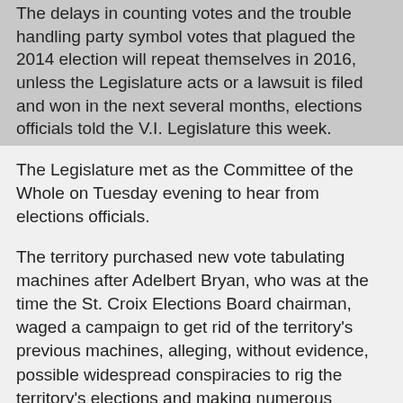The delays in counting votes and the trouble handling party symbol votes that plagued the 2014 election will repeat themselves in 2016, unless the Legislature acts or a lawsuit is filed and won in the next several months, elections officials told the V.I. Legislature this week.
The Legislature met as the Committee of the Whole on Tuesday evening to hear from elections officials.
The territory purchased new vote tabulating machines after Adelbert Bryan, who was at the time the St. Croix Elections Board chairman, waged a campaign to get rid of the territory's previous machines, alleging, without evidence, possible widespread conspiracies to rig the territory's elections and making numerous dubious claims about the old machines. (See: "Public to Test Voting Machines This Weekend" in Related Links below)